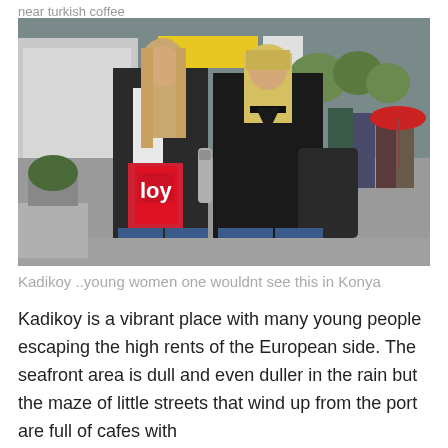near turkish coffee
[Figure (photo): Two young women walking on a busy street in Kadikoy, Istanbul. One carries a red shopping bag and a thermos, both dressed in dark clothing. People and trees visible in background.]
Kadikoy ..young women one wouldnt see this in Konya
Kadikoy is a vibrant place with many young people escaping the high rents of the European side. The seafront area is dull and even duller in the rain but the maze of little streets that wind up from the port are full of cafes with